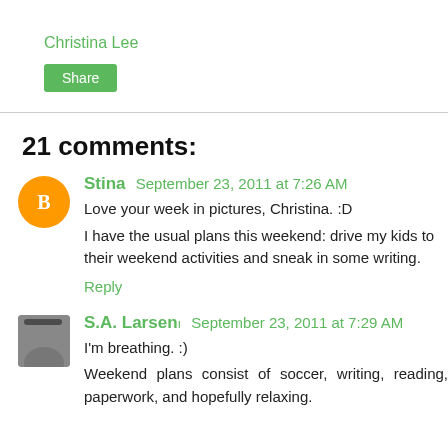Christina Lee
Share
21 comments:
Stina  September 23, 2011 at 7:26 AM
Love your week in pictures, Christina. :D

I have the usual plans this weekend: drive my kids to their weekend activities and sneak in some writing.
Reply
S.A. Larsenı  September 23, 2011 at 7:29 AM
I'm breathing. :)

Weekend plans consist of soccer, writing, reading, paperwork, and hopefully relaxing.